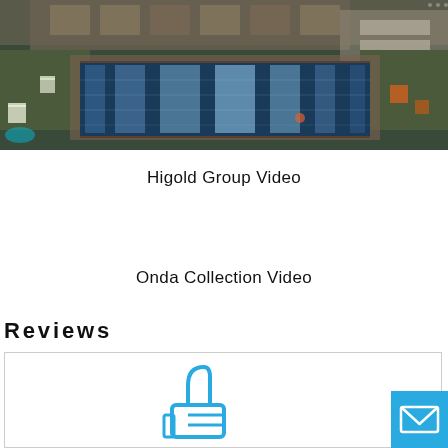[Figure (photo): Overhead/perspective view of a long rectangular infinity pool at dusk/night with illuminated cube-shaped seating on grass on both sides, lounge chairs visible in background, building facade in rear.]
Higold Group Video
Onda Collection Video
Reviews
[Figure (illustration): Blue thumbs-up icon inside a reviews section box with a horizontal border separator.]
[Figure (illustration): Blue mail/envelope button icon in bottom-right corner.]